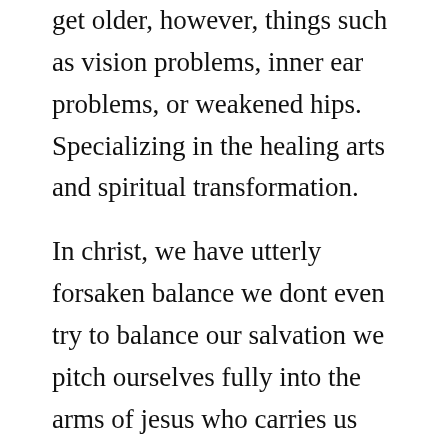get older, however, things such as vision problems, inner ear problems, or weakened hips. Specializing in the healing arts and spiritual transformation.
In christ, we have utterly forsaken balance we dont even try to balance our salvation we pitch ourselves fully into the arms of jesus who carries us through to the other side. Balance training improves the health, balance, and performance of everyone from beginners to advanced athletes, young and notsoyoung. We assessed the association between worklife balance and psychosocial wellbeing among